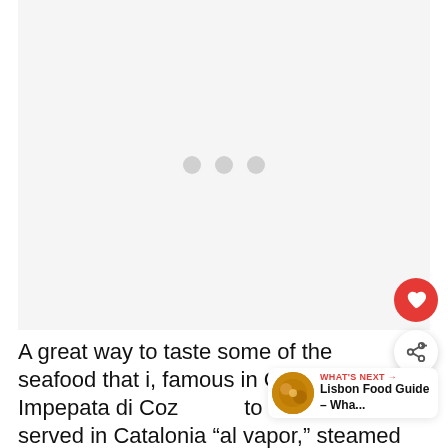[Figure (photo): A large image placeholder area with a light grey background and three grey loading dots in the center, indicating an image is loading or unavailable.]
A great way to taste some of the seafood that is famous in Campania. Impepata di Coz… to the mussels served in Catalonia "al vapor," steamed in their own juices. In this case, the